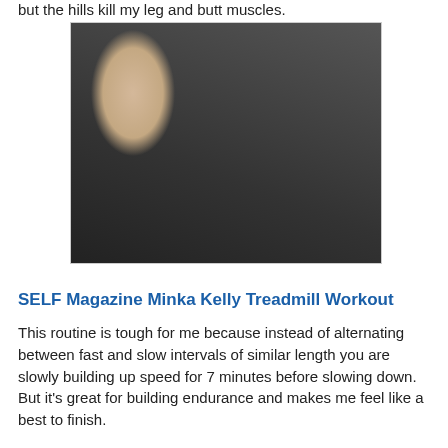but the hills kill my leg and butt muscles.
[Figure (photo): Woman on a treadmill in a gym, alongside a workout table showing TIME, SPEED, and INCLINE intervals.]
| TIME | SPEED | INCLINE |
| --- | --- | --- |
| 0:00-5:00 | 5.5 | 1 |
| 5:00-8:00 | 5.5 | 6 |
| 8:00-9:30 | 4.5 | 2 |
| 9:30-11:30 | 6 | 6 |
| 11:30-13:00 | 4.5 | 2 |
| 13:00-14:00 | 6.5 | 6 |
| 14:00-15:30 | 4.5 | 2 |
| 15:30-18:30 | 5.5 | 6 |
| 18:30-20:00 | 4.5 | 2 |
| 20:00-22:00 | 6 | 6 |
| 22:00-23:30 | 4.5 | 2 |
| 23:30-24:30 | 6.5 | 6 |
| 24:30-26:00 | 4.5 | 2 |
| 26:00-29:00 | 5.5 | 6 |
| 29:00-30:30 | 4.5 | 2 |
| 30:30-32:30 | 6 | 6 |
| 32:30-34:00 | 4.5 | 2 |
| 34:00-35:00 | 6.5 | 6 |
| 35:00-37:00 | 4.5 | 2 |
| 37:00-42:00 | 4.5 | 1 |
| 42:00-45:00 | 3 | 1 |
SELF Magazine Minka Kelly Treadmill Workout
This routine is tough for me because instead of alternating between fast and slow intervals of similar length you are slowly building up speed for 7 minutes before slowing down. But it's great for building endurance and makes me feel like a best to finish.